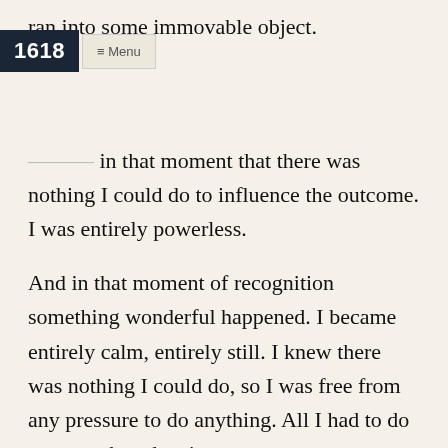1618  ≡ Menu
ran into some immovable object. [truncated] in that moment that there was nothing I could do to influence the outcome. I was entirely powerless.
And in that moment of recognition something wonderful happened. I became entirely calm, entirely still. I knew there was nothing I could do, so I was free from any pressure to do anything. All I had to do was watch and wait.
Time slowed. My perceptions became sharp and vivid. I was curious but not concerned about what was happening, unworried